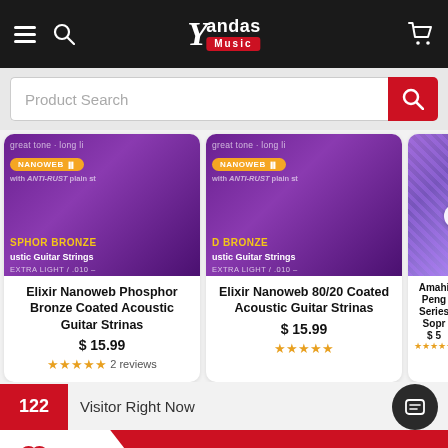[Figure (screenshot): Yandas Music website header with hamburger menu, search icon, logo, and cart icon on dark background]
Product Search
[Figure (photo): Elixir Nanoweb Phosphor Bronze Coated Acoustic Guitar Strings product image - purple packaging with NANOWEB badge and ANTI-RUST text, Extra Light / .010]
Elixir Nanoweb Phosphor Bronze Coated Acoustic Guitar Strinas
$ 15.99
2 reviews
[Figure (photo): Elixir Nanoweb 80/20 Coated Acoustic Guitar Strings product image - purple packaging with NANOWEB badge and ANTI-RUST text, Extra Light / .010]
Elixir Nanoweb 80/20 Coated Acoustic Guitar Strinas
$ 15.99
[Figure (photo): Amahi Penguin Series Soprano (partial) product image - colorful guitar]
Amahi Peng Series Sopr
$ 5
122 Visitor Right Now
+ Add To Cart